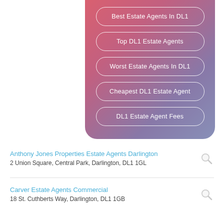[Figure (infographic): Gradient pink-to-purple rounded rectangle containing five pill-shaped button labels for estate agent search options in DL1]
Best Estate Agents In DL1
Top DL1 Estate Agents
Worst Estate Agents In DL1
Cheapest DL1 Estate Agent
DL1 Estate Agent Fees
Anthony Jones Properties Estate Agents Darlington
2 Union Square, Central Park, Darlington, DL1 1GL
Carver Estate Agents Commercial
18 St. Cuthberts Way, Darlington, DL1 1GB